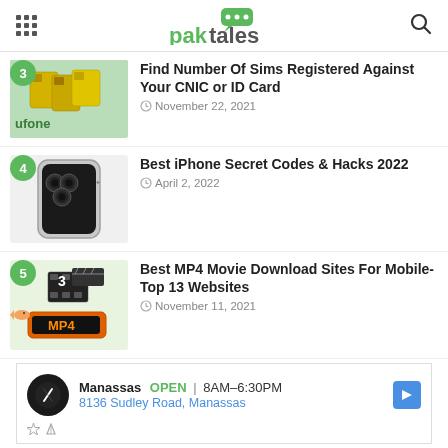paktales
Find Number Of Sims Registered Against Your CNIC or ID Card — November 22, 2021
4 Best iPhone Secret Codes & Hacks 2022 — April 2, 2022
5 Best MP4 Movie Download Sites For Mobile-Top 13 Websites — November 11, 2021
[Figure (screenshot): Advertisement: Manassas OPEN 8AM-6:30PM, 8136 Sudley Road, Manassas]